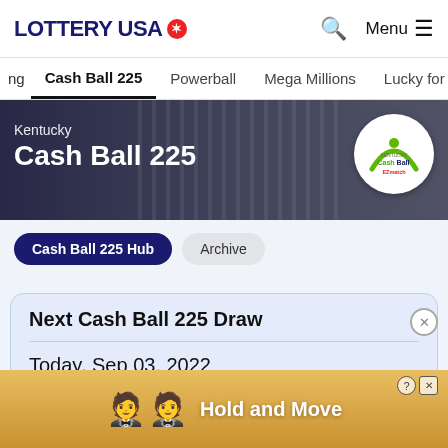LOTTERY USA — Search — Menu
Cash Ball 225  Powerball  Mega Millions  Lucky for Life
[Figure (photo): Kentucky Cash Ball 225 hero banner with steamboat background image and Cash Ball EZmatch logo]
Kentucky Cash Ball 225
Cash Ball 225 Hub
Archive
Next Cash Ball 225 Draw
Today, Sep 03, 2022
$225,000
Hold and Move